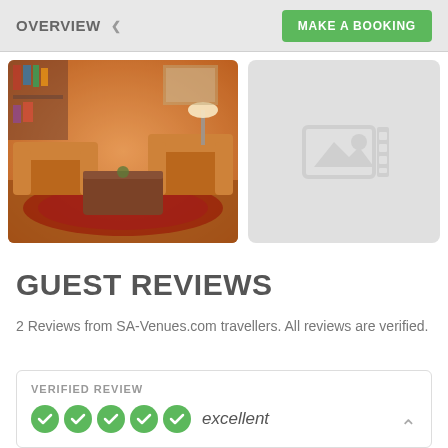OVERVIEW   MAKE A BOOKING
[Figure (photo): Interior photo showing a living room with brown leather sofas, wooden coffee table, and patterned rug with warm lighting]
[Figure (photo): Placeholder image icon on grey background]
GUEST REVIEWS
2 Reviews from SA-Venues.com travellers. All reviews are verified.
VERIFIED REVIEW  excellent